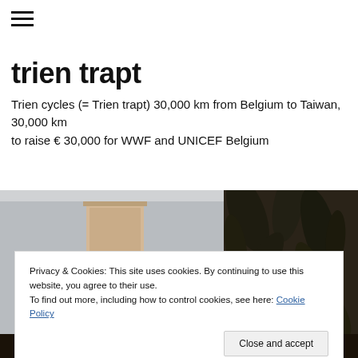[Figure (other): Hamburger menu icon (three horizontal lines)]
trien trapt
Trien cycles (= Trien trapt) 30,000 km from Belgium to Taiwan, 30,000 km to raise € 30,000 for WWF and UNICEF Belgium
[Figure (photo): Interior room photo showing a white door and patterned wallpaper]
Privacy & Cookies: This site uses cookies. By continuing to use this website, you agree to their use.
To find out more, including how to control cookies, see here: Cookie Policy
[Close and accept button]